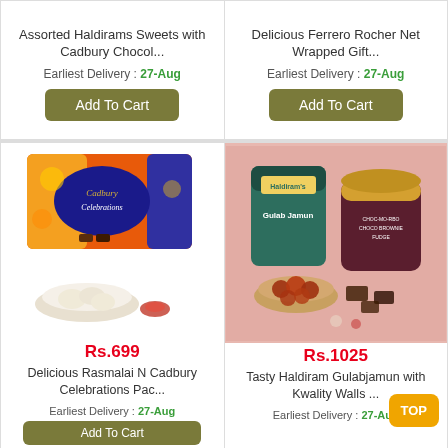Assorted Haldirams Sweets with Cadbury Chocol...
Earliest Delivery : 27-Aug
Add To Cart
Delicious Ferrero Rocher Net Wrapped Gift...
Earliest Delivery : 27-Aug
Add To Cart
[Figure (photo): Cadbury Celebrations chocolate box with rasmalai sweets and decorative items]
Rs.699
Delicious Rasmalai N Cadbury Celebrations Pac...
Earliest Delivery : 27-Aug
[Figure (photo): Haldiram Gulab Jamun tin can with Kwality Walls choco brownie ice cream tub and gulab jamun bowl]
Rs.1025
Tasty Haldiram Gulabjamun with Kwality Walls ...
Earliest Delivery : 27-Aug